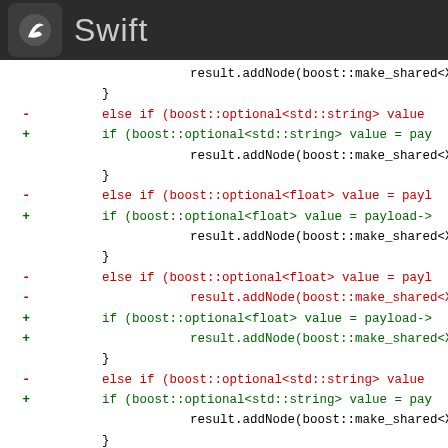Swift
Code diff showing C++ code with boost::optional usage, additions and removals of if/else if blocks with result.addNode calls